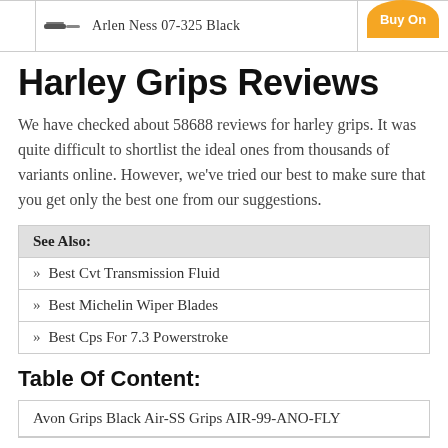|  | Product | Action |
| --- | --- | --- |
|  | Arlen Ness 07-325 Black | Buy On |
Harley Grips Reviews
We have checked about 58688 reviews for harley grips. It was quite difficult to shortlist the ideal ones from thousands of variants online. However, we've tried our best to make sure that you get only the best one from our suggestions.
See Also:
Best Cvt Transmission Fluid
Best Michelin Wiper Blades
Best Cps For 7.3 Powerstroke
Table Of Content:
Avon Grips Black Air-SS Grips AIR-99-ANO-FLY